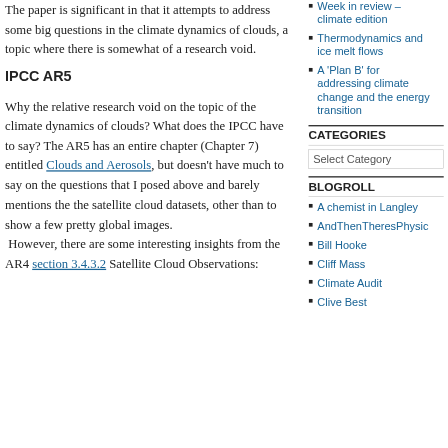The paper is significant in that it attempts to address some big questions in the climate dynamics of clouds, a topic where there is somewhat of a research void.
IPCC AR5
Why the relative research void on the topic of the climate dynamics of clouds?  What does the IPCC have to say?  The AR5 has an entire chapter (Chapter 7) entitled Clouds and Aerosols, but doesn't have much to say on the questions that I posed above and barely mentions the the satellite cloud datasets, other than to show a few pretty global images.  However, there are some interesting insights from the AR4 section 3.4.3.2 Satellite Cloud Observations:
Week in review – climate edition
Thermodynamics and ice melt flows
A 'Plan B' for addressing climate change and the energy transition
CATEGORIES
Select Category
BLOGROLL
A chemist in Langley
AndThenTheresPhysic
Bill Hooke
Cliff Mass
Climate Audit
Clive Best